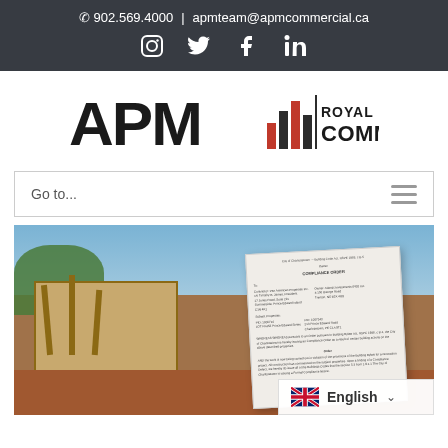✆ 902.569.4000 | apmteam@apmcommercial.ca
[Figure (logo): Social media icons: Instagram, Twitter, Facebook, LinkedIn on dark background]
[Figure (logo): APM Royal LePage Commercial logo]
Go to...
[Figure (photo): Construction site with lumber framing and red soil, a compliance order document on a board in the foreground]
English